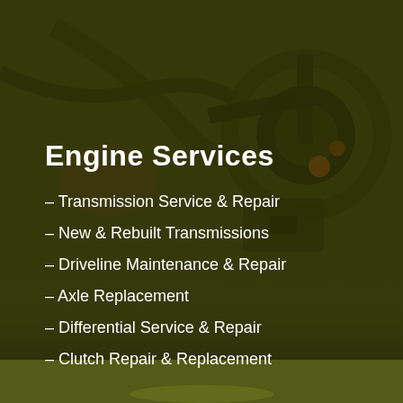[Figure (photo): Background photo of a mechanic working on a car engine, with dark olive/green color overlay tint covering the image]
Engine Services
– Transmission Service & Repair
– New & Rebuilt Transmissions
– Driveline Maintenance & Repair
– Axle Replacement
– Differential Service & Repair
– Clutch Repair & Replacement